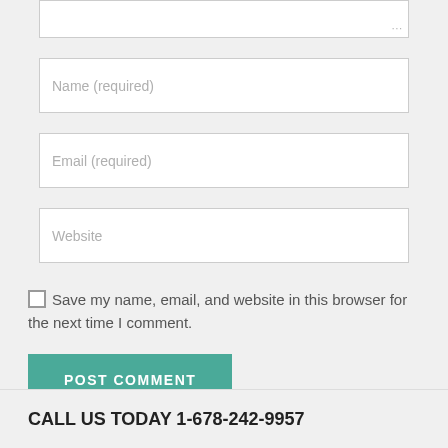[Figure (screenshot): Text area input field (top portion cut off) with resize handle at bottom right]
[Figure (screenshot): Name (required) text input field]
[Figure (screenshot): Email (required) text input field]
[Figure (screenshot): Website text input field]
Save my name, email, and website in this browser for the next time I comment.
POST COMMENT
CALL US TODAY 1-678-242-9957